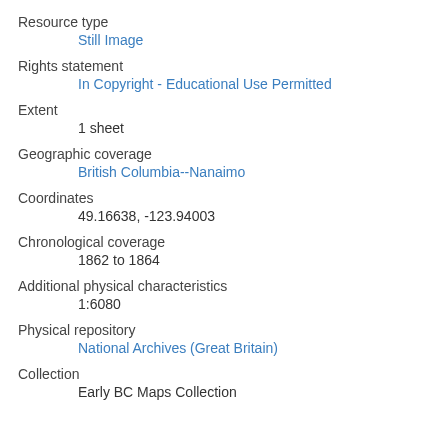Resource type
Still Image
Rights statement
In Copyright - Educational Use Permitted
Extent
1 sheet
Geographic coverage
British Columbia--Nanaimo
Coordinates
49.16638, -123.94003
Chronological coverage
1862 to 1864
Additional physical characteristics
1:6080
Physical repository
National Archives (Great Britain)
Collection
Early BC Maps Collection